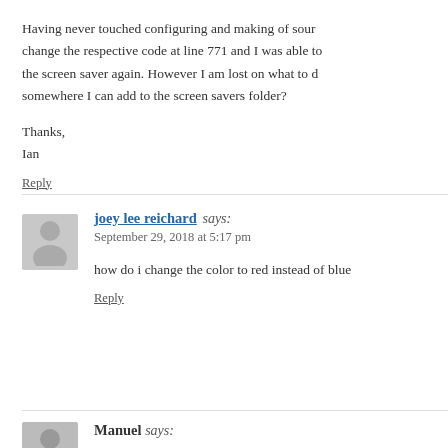Having never touched configuring and making of source change the respective code at line 771 and I was able to the screen saver again. However I am lost on what to do somewhere I can add to the screen savers folder?
Thanks,
Ian
Reply
joey lee reichard says:
September 29, 2018 at 5:17 pm
how do i change the color to red instead of blue
Reply
Manuel says: